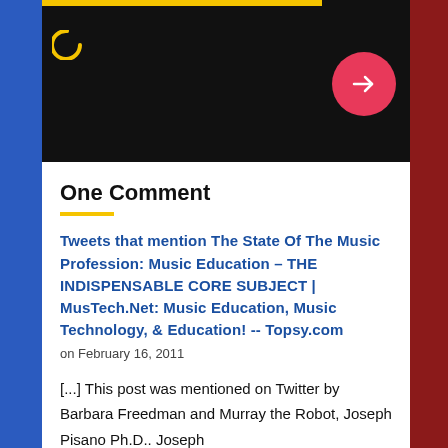One Comment
Tweets that mention The State Of The Music Profession: Music Education – THE INDISPENSABLE CORE SUBJECT | MusTech.Net: Music Education, Music Technology, & Education! -- Topsy.com
on February 16, 2011
[...] This post was mentioned on Twitter by Barbara Freedman and Murray the Robot, Joseph Pisano Ph.D.. Joseph